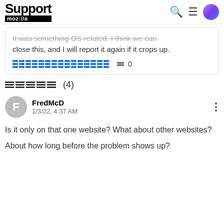Support moz://a
It was something OS related. I think we can close this, and I will report it again if it crops up.
(vote/reaction icons) 0
(4)
FredMcD
1/3/22, 4:37 AM
Is it only on that one website? What about other websites?

About how long before the problem shows up?